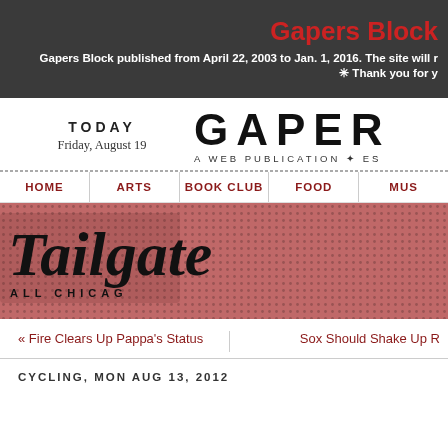Gapers Block
Gapers Block published from April 22, 2003 to Jan. 1, 2016. The site will r
✳ Thank you for y
[Figure (logo): Gapers Block logo with large text GAPER and tagline A WEB PUBLICATION + ES]
TODAY
Friday, August 19
HOME | ARTS | BOOK CLUB | FOOD | MUS
[Figure (illustration): Tailgate banner with halftone red background, large italic text reading Tailgate, subtitle ALL CHICAGO]
« Fire Clears Up Pappa's Status
Sox Should Shake Up R
CYCLING, MON AUG 13, 2012